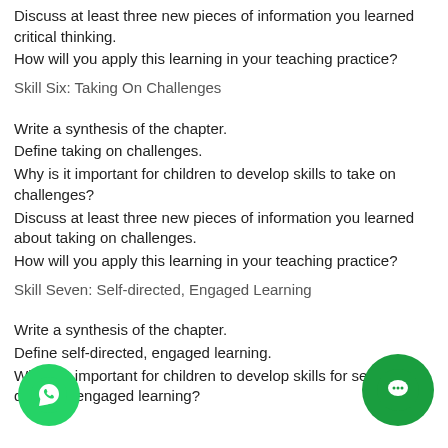Discuss at least three new pieces of information you learned critical thinking.
How will you apply this learning in your teaching practice?
Skill Six: Taking On Challenges
Write a synthesis of the chapter.
Define taking on challenges.
Why is it important for children to develop skills to take on challenges?
Discuss at least three new pieces of information you learned about taking on challenges.
How will you apply this learning in your teaching practice?
Skill Seven: Self-directed, Engaged Learning
Write a synthesis of the chapter.
Define self-directed, engaged learning.
Why is it important for children to develop skills for self-directed, engaged learning?